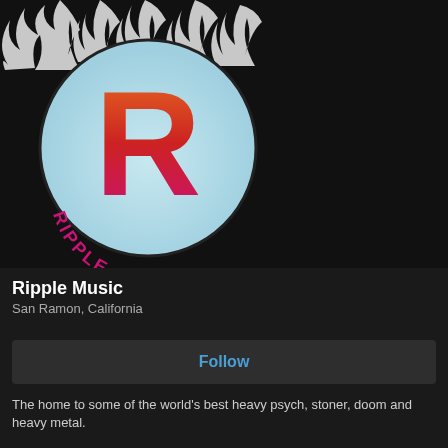[Figure (logo): Ripple Music logo: a large stylized letter R in orange-to-pink gradient inside a light blue circle with flame effects around it, text 'RIPPLE MUSIC' arched at the bottom of the circle, on dark background]
Ripple Music
San Ramon, California
Follow
The home to some of the world's best heavy psych, stoner, doom and heavy metal.